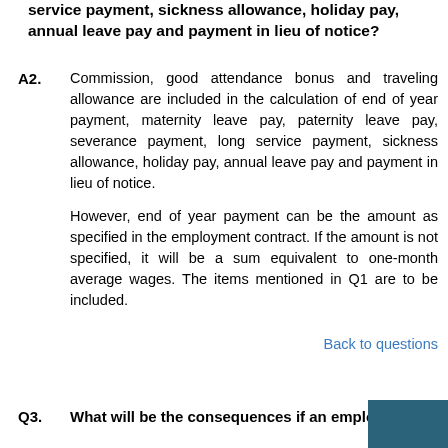service payment, sickness allowance, holiday pay, annual leave pay and payment in lieu of notice?
Commission, good attendance bonus and traveling allowance are included in the calculation of end of year payment, maternity leave pay, paternity leave pay, severance payment, long service payment, sickness allowance, holiday pay, annual leave pay and payment in lieu of notice.

However, end of year payment can be the amount as specified in the employment contract. If the amount is not specified, it will be a sum equivalent to one-month average wages. The items mentioned in Q1 are to be included.
Back to questions
Q3.  What will be the consequences if an employ...